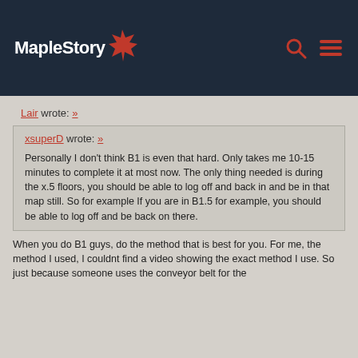MapleStory
Lair wrote: »
xsuperD wrote: »
Personally I don't think B1 is even that hard. Only takes me 10-15 minutes to complete it at most now. The only thing needed is during the x.5 floors, you should be able to log off and back in and be in that map still. So for example If you are in B1.5 for example, you should be able to log off and be back on there.
When you do B1 guys, do the method that is best for you. For me, the method I used, I couldnt find a video showing the exact method I use. So just because someone uses the conveyor belt for the